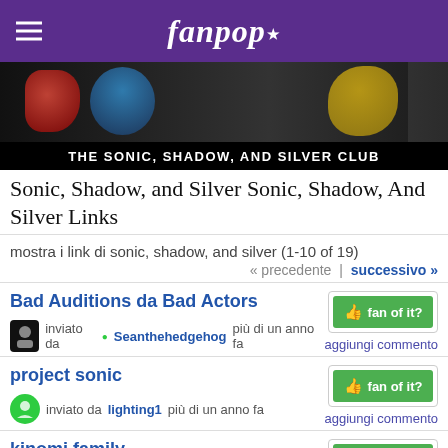fanpop
[Figure (photo): Banner image with Sonic, Shadow and Silver characters on dark background]
THE SONIC, SHADOW, AND SILVER CLUB
Sonic, Shadow, and Silver Sonic, Shadow, And Silver Links
mostra i link di sonic, shadow, and silver (1-10 of 19)
« precedente | successivo »
Bad Auditions da Bad Actors
inviato da Seanthehedgehog più di un anno fa
aggiungi commento
project sonic
inviato da lighting1 più di un anno fa
aggiungi commento
kinomi family